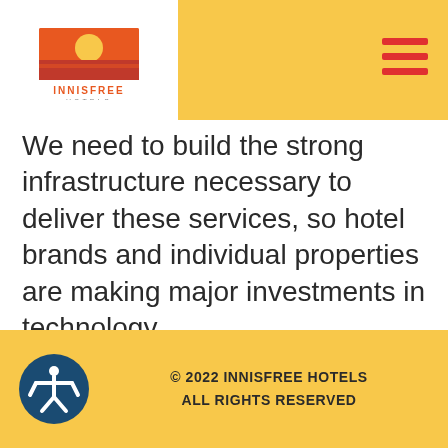[Figure (logo): Innisfree Hotels logo — sun and landscape icon above text INNISFREE HOTELS]
We need to build the strong infrastructure necessary to deliver these services, so hotel brands and individual properties are making major investments in technology.
← Digital Marketing Musings for 2018
Innisfree Promotion Announcement 2017 →
© 2022 INNISFREE HOTELS ALL RIGHTS RESERVED